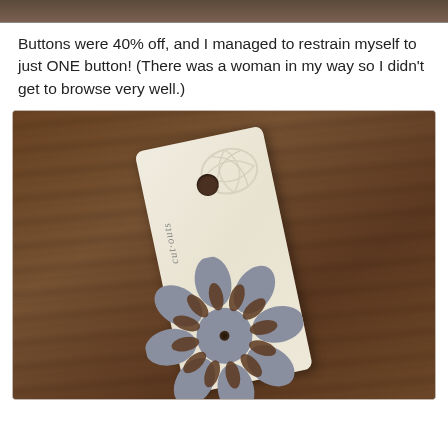[Figure (photo): Top strip of a photo showing a dark brown wooden surface or top of a previous image]
Buttons were 40% off, and I managed to restrain myself to just ONE button! (There was a woman in my way so I didn't get to browse very well.)
[Figure (photo): Photo of a single decorative flower-shaped grey button in cut-out style on a cream-colored 'cut-outs' branded card, placed on a dark brown wood surface]